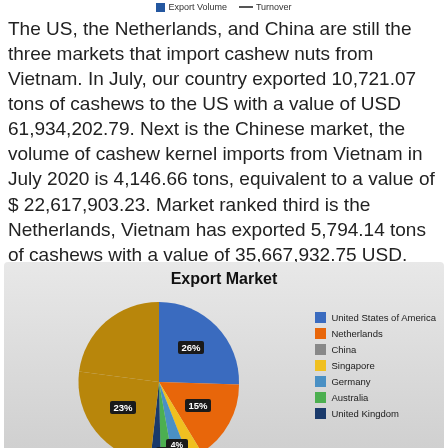[Figure (other): Legend showing Export Volume (blue square) and Turnover (line) indicators]
The US, the Netherlands, and China are still the three markets that import cashew nuts from Vietnam. In July, our country exported 10,721.07 tons of cashews to the US with a value of USD 61,934,202.79. Next is the Chinese market, the volume of cashew kernel imports from Vietnam in July 2020 is 4,146.66 tons, equivalent to a value of $ 22,617,903.23. Market ranked third is the Netherlands, Vietnam has exported 5,794.14 tons of cashews with a value of 35,667,932.75 USD.
[Figure (pie-chart): Export Market]